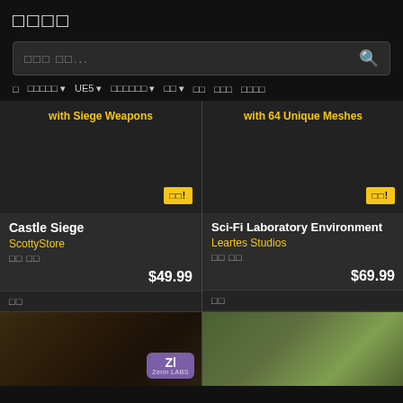마켓플레이스
에셋 검색...
전 카테고리 ▾  UE5 ▾  지원엔진버전 ▾  가격 ▾  무료  베스트셀러  최근등록
[Figure (screenshot): Castle Siege product card with text 'with Siege Weapons', badge '할인!', title 'Castle Siege', author 'ScottyStore', price $49.99]
[Figure (screenshot): Sci-Fi Laboratory Environment product card with text 'with 64 Unique Meshes', badge '할인!', author 'Leartes Studios', price $69.99]
[Figure (screenshot): Bottom left thumbnail showing a warm interior room scene with Zerin LABS badge]
[Figure (screenshot): Bottom right thumbnail showing a green outdoor fantasy scene]